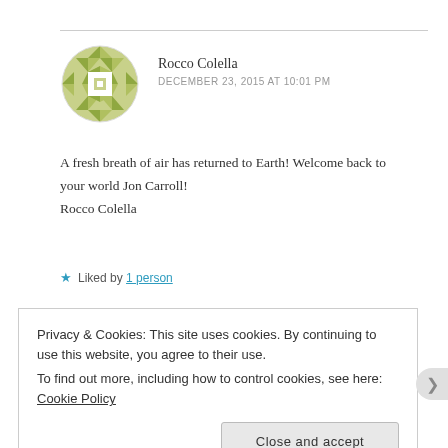[Figure (illustration): Circular avatar with green geometric/diamond quilt pattern on white background]
Rocco Colella
DECEMBER 23, 2015 AT 10:01 PM
A fresh breath of air has returned to Earth! Welcome back to your world Jon Carroll!
Rocco Colella
★ Liked by 1 person
Privacy & Cookies: This site uses cookies. By continuing to use this website, you agree to their use.
To find out more, including how to control cookies, see here: Cookie Policy
Close and accept